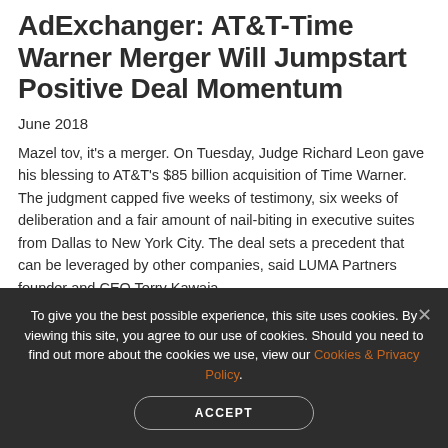AdExchanger: AT&T-Time Warner Merger Will Jumpstart Positive Deal Momentum
June 2018
Mazel tov, it’s a merger. On Tuesday, Judge Richard Leon gave his blessing to AT&T’s $85 billion acquisition of Time Warner. The judgment capped five weeks of testimony, six weeks of deliberation and a fair amount of nail-biting in executive suites from Dallas to New York City. The deal sets a precedent that can be leveraged by other companies, said LUMA Partners founder and CEO Terry Kawaja.
KEEP READING
To give you the best possible experience, this site uses cookies. By viewing this site, you agree to our use of cookies. Should you need to find out more about the cookies we use, view our Cookies & Privacy Policy.
ACCEPT